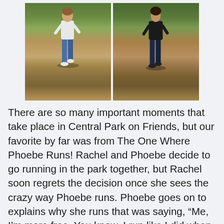[Figure (photo): Two side-by-side photos of people running on a dirt trail path in a wooded park. Left photo shows a person in blue jeans and white top running toward camera. Right photo shows a person in dark clothing running toward camera.]
There are so many important moments that take place in Central Park on Friends, but our favorite by far was from The One Where Phoebe Runs! Rachel and Phoebe decide to go running in the park together, but Rachel soon regrets the decision once she sees the crazy way Phoebe runs. Phoebe goes on to explains why she runs that was saying, “Me, I’m more free. You know, I run like I did when I was a kid because that’s the only way it’s fun. You know? I’m mean, didn’t you ever run so fast you thought your legs were gonna fall off, you know,